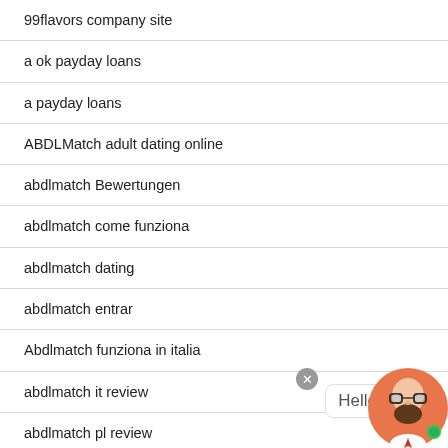99flavors company site
a ok payday loans
a payday loans
ABDLMatch adult dating online
abdlmatch Bewertungen
abdlmatch come funziona
abdlmatch dating
abdlmatch entrar
Abdlmatch funziona in italia
abdlmatch it review
abdlmatch pl review
Abdlmatch rencontre fran?aise
abdlmatch review
[Figure (illustration): Chat widget with close button, speech bubble showing 'Hello', and an avatar of a bearded man with glasses and a green online indicator dot, positioned at bottom right]